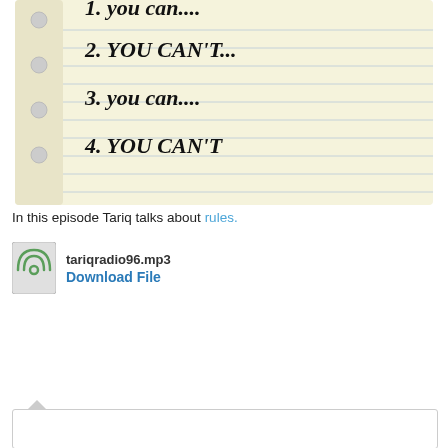[Figure (photo): Handwritten notebook paper showing a numbered list: 1. you can..., 2. YOU CAN'T..., 3. you can..., 4. YOU CAN'T]
In this episode Tariq talks about rules.
tariqradio96.mp3
Download File
Tweet
13 Comments